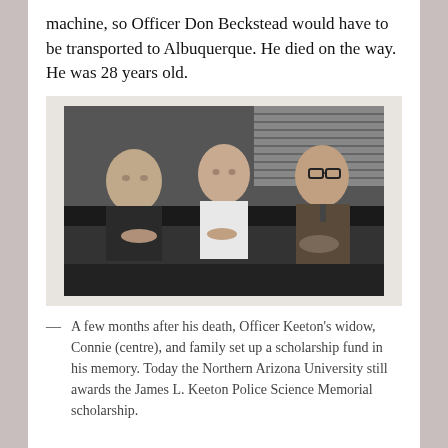machine, so Officer Don Beckstead would have to be transported to Albuquerque. He died on the way. He was 28 years old.
[Figure (photo): Black and white photograph of three people sitting around a table: a man on the left, a woman in white in the centre, and an older man with glasses on the right.]
A few months after his death, Officer Keeton's widow, Connie (centre), and family set up a scholarship fund in his memory. Today the Northern Arizona University still awards the James L. Keeton Police Science Memorial scholarship.